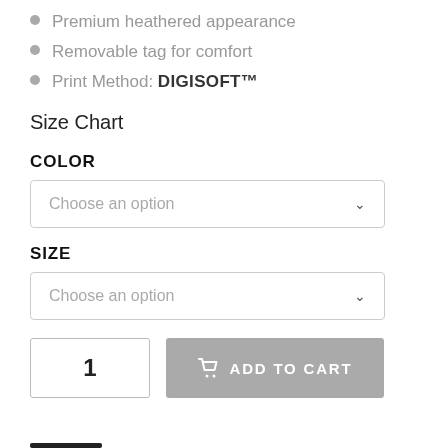Premium heathered appearance
Removable tag for comfort
Print Method: DIGISOFT™
Size Chart
COLOR
Choose an option
SIZE
Choose an option
1
ADD TO CART